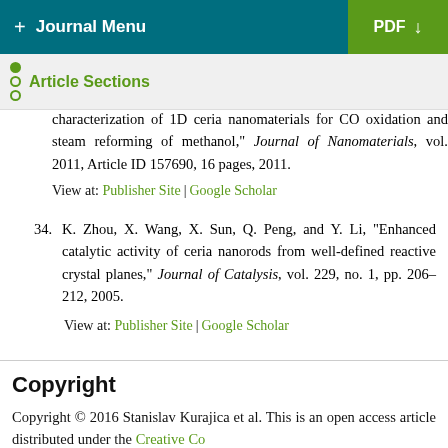Journal Menu | PDF
Article Sections
characterization of 1D ceria nanomaterials for CO oxidation and steam reforming of methanol," Journal of Nanomaterials, vol. 2011, Article ID 157690, 16 pages, 2011.
View at: Publisher Site | Google Scholar
34. K. Zhou, X. Wang, X. Sun, Q. Peng, and Y. Li, "Enhanced catalytic activity of ceria nanorods from well-defined reactive crystal planes," Journal of Catalysis, vol. 229, no. 1, pp. 206–212, 2005.
View at: Publisher Site | Google Scholar
Copyright
Copyright © 2016 Stanislav Kurajica et al. This is an open access article distributed under the Creative Commons...